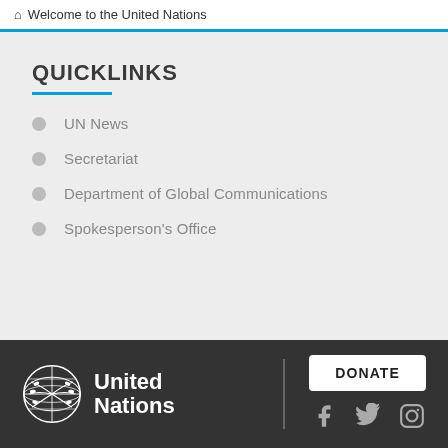Welcome to the United Nations
QUICKLINKS
UN News
Secretariat
Department of Global Communications
Spokesperson's Office
United Nations | DONATE